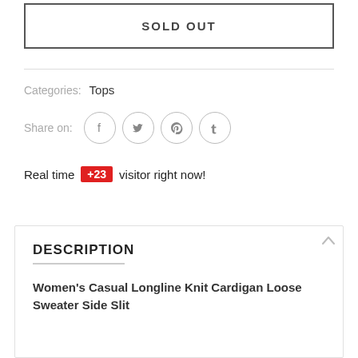SOLD OUT
Categories: Tops
Share on:
Real time +23 visitor right now!
DESCRIPTION
Women's Casual Longline Knit Cardigan Loose Sweater Side Slit